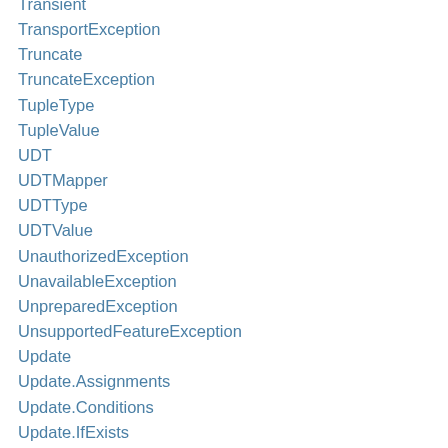Transient
TransportException
Truncate
TruncateException
TupleType
TupleValue
UDT
UDTMapper
UDTType
UDTValue
UnauthorizedException
UnavailableException
UnpreparedException
UnsupportedFeatureException
Update
Update.Assignments
Update.Conditions
Update.IfExists
Update.Options
Update.Where
UserType
UserType.Field
Using
UUIDs
VersionNumber
WhiteListPolicy
WriteTimeoutException
WriteType